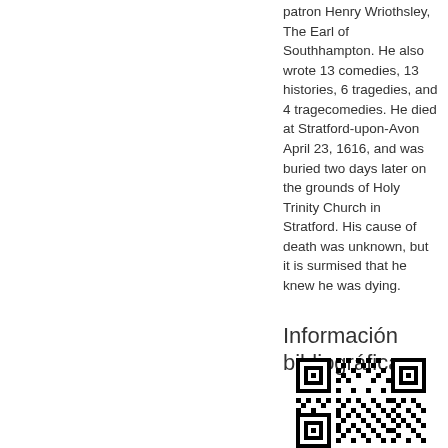patron Henry Wriothsley, The Earl of Southhampton. He also wrote 13 comedies, 13 histories, 6 tragedies, and 4 tragecomedies. He died at Stratford-upon-Avon April 23, 1616, and was buried two days later on the grounds of Holy Trinity Church in Stratford. His cause of death was unknown, but it is surmised that he knew he was dying.
Información bibliográfica
[Figure (other): QR code for bibliographic information]